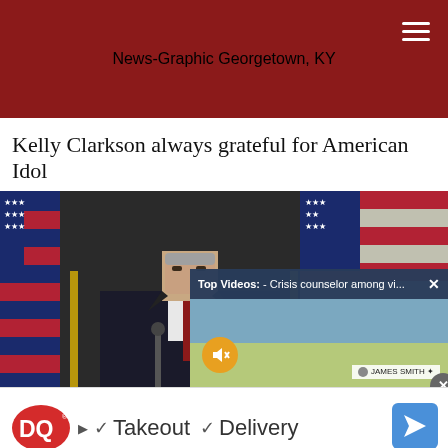News-Graphic Georgetown, KY
Kelly Clarkson always grateful for American Idol
[Figure (photo): Man in dark suit and red tie standing at podium with American flags in the background, with a video overlay popup showing 'Top Videos: - Crisis counselor among vi...' and a landscape video thumbnail with mute icon]
[Figure (infographic): Dairy Queen advertisement banner showing DQ logo, checkmarks next to 'Takeout' and 'Delivery' text, and a navigation/directions icon]